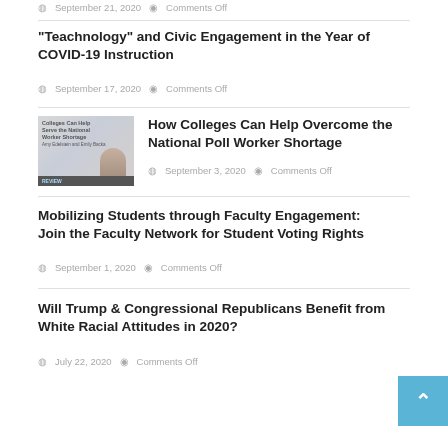September 21, 2020  Comments Off
“Teachnology” and Civic Engagement in the Year of COVID-19 Instruction
September 17, 2020  Comments Off
How Colleges Can Help Overcome the National Poll Worker Shortage
September 3, 2020  Comments Off
Mobilizing Students through Faculty Engagement: Join the Faculty Network for Student Voting Rights
September 1, 2020  Comments Off
Will Trump & Congressional Republicans Benefit from White Racial Attitudes in 2020?
July 22, 2020  Comments Off